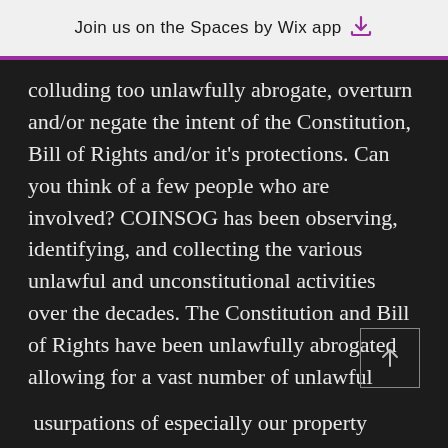Join us on the Spaces by Wix app
colluding too unlawfully abrogate, overturn and/or negate the intent of the Constitution, Bill of Rights and/or it's protections. Can you think of a few people who are involved? COINSOG has been observing, identifying, and collecting the various unlawful and unconstitutional activities over the decades. The Constitution and Bill of Rights have been unlawfully abrogated allowing for a vast number of unlawful usurpations of especially our property rights such as the Federal Individual Income tax and Ad Valorem (real property) taxes. Isn't a